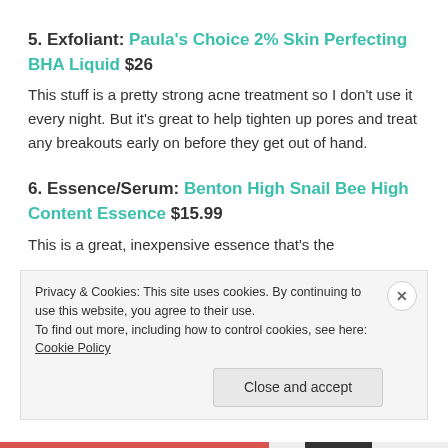5. Exfoliant: Paula's Choice 2% Skin Perfecting BHA Liquid $26
This stuff is a pretty strong acne treatment so I don't use it every night. But it's great to help tighten up pores and treat any breakouts early on before they get out of hand.
6. Essence/Serum: Benton High Snail Bee High Content Essence $15.99
This is a great, inexpensive essence that's the
Privacy & Cookies: This site uses cookies. By continuing to use this website, you agree to their use.
To find out more, including how to control cookies, see here: Cookie Policy
Close and accept